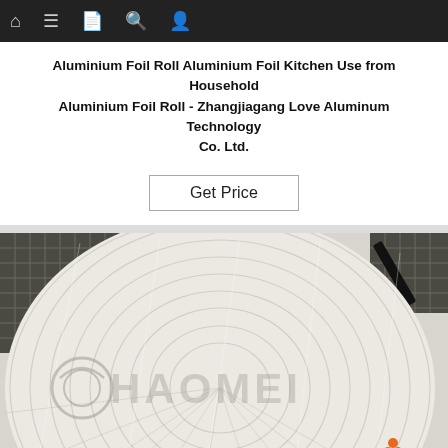Navigation bar with home, menu, document, search, and profile icons
Aluminium Foil Roll Aluminium Foil Kitchen Use from Household Aluminium Foil Roll - Zhangjiagang Love Aluminum Technology Co. Ltd.
Get Price
[Figure (photo): Large roll of aluminium foil wrapped in plastic, shown from above, with a watermark logo reading 'HAOMEI' visible in the center. A 'TOP' badge with orange dots in a triangle pattern is in the bottom-right corner.]